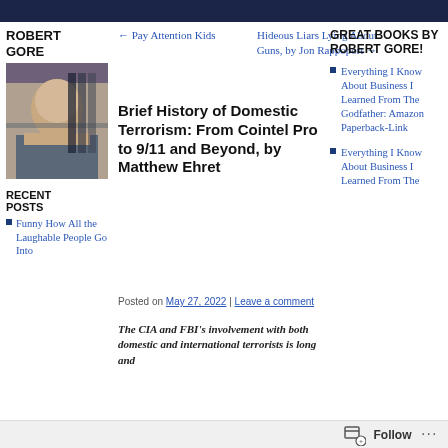[Figure (photo): Dark banner image at top of webpage]
ROBERT GORE
[Figure (photo): Portrait photo of Robert Gore, a middle-aged man in front of bookshelves]
RECENT POSTS
Funny How All the Laughable People Go Into
← Pay Attention Kids
Hideous Liars Lying About Guns, by Jon Rappoport →
Brief History of Domestic Terrorism: From Cointel Pro to 9/11 and Beyond, by Matthew Ehret
Posted on May 27, 2022 | Leave a comment
The CIA and FBI's involvement with both domestic and international terrorists is long and
GREAT BOOKS BY ROBERT GORE!
Everything I Know About Business I Learned From The Godfather: Amazon Paperback-Link
Everything I Know About Business I Learned From The